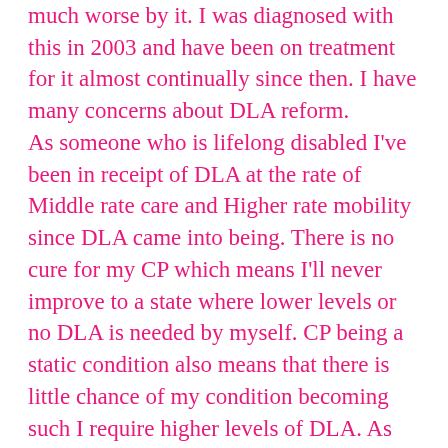much worse by it.  I was diagnosed with this in 2003 and have been on treatment for it almost continually since then.  I have many concerns about DLA reform. As someone who is lifelong disabled I've been in receipt of DLA at the rate of Middle rate care and Higher rate mobility since DLA came into being.  There is no cure for my CP which means I'll never improve to a state where lower levels or no DLA is needed by myself.  CP being a static condition also means that there is little chance of my condition becoming such I require higher levels of DLA.  As such I have an indefinite award.  That doesn't mean it's a permanent award, it just means that they recognise my circumstances are such they need not be reviewed regularly.